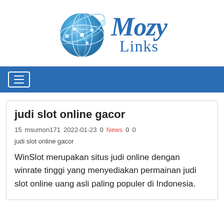[Figure (logo): MozyLinks logo with blue globe icon and text 'Mozy Links' in blue serif italic font]
Navigation bar with hamburger menu icon
judi slot online gacor
15  msumon171  2022-01-23  0  News  0  0
judi slot online gacor
WinSlot merupakan situs judi online dengan winrate tinggi yang menyediakan permainan judi slot online uang asli paling populer di Indonesia.